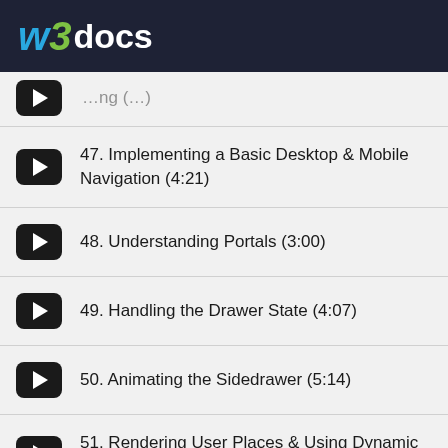W3docs
47. Implementing a Basic Desktop & Mobile Navigation (4:21)
48. Understanding Portals (3:00)
49. Handling the Drawer State (4:07)
50. Animating the Sidedrawer (5:14)
51. Rendering User Places & Using Dynamic Route Segments (16:12)
52. Getting Route Params (2:16)